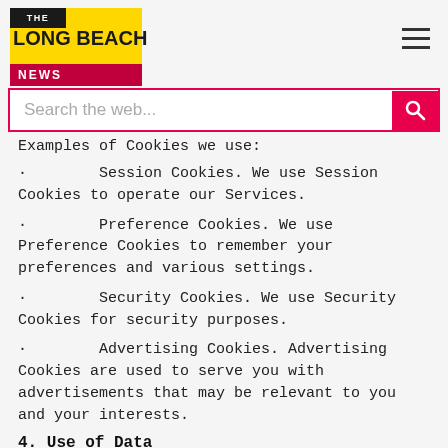The Long Beach News — Search bar
Examples of Cookies we use:
· Session Cookies. We use Session Cookies to operate our Services.
· Preference Cookies. We use Preference Cookies to remember your preferences and various settings.
· Security Cookies. We use Security Cookies for security purposes.
· Advertising Cookies. Advertising Cookies are used to serve you with advertisements that may be relevant to you and your interests.
4. Use of Data
We use data to build better services for all our users. These include but are not limited to: